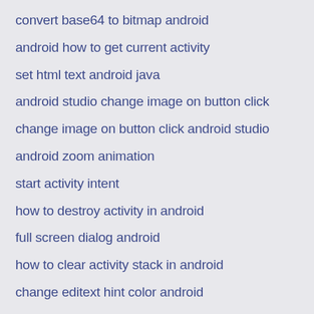convert base64 to bitmap android
android how to get current activity
set html text android java
android studio change image on button click
change image on button click android studio
android zoom animation
start activity intent
how to destroy activity in android
full screen dialog android
how to clear activity stack in android
change editext hint color android
onclick button in java android
android hide textview
statusbar text color android